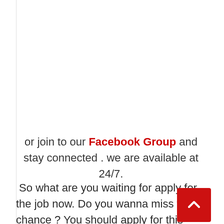or join to our Facebook Group and stay connected . we are available at 24/7.
So what are you waiting for apply for the job now. Do you wanna miss the chance ? You should apply for this  job offline. You can visit they are official website at here.